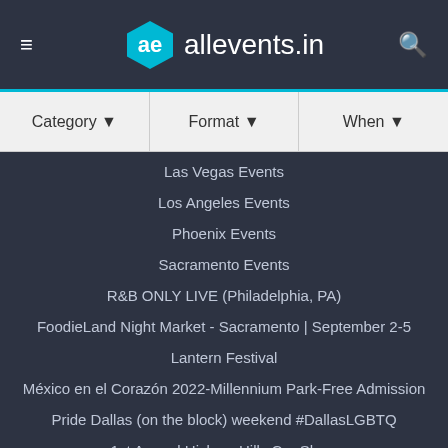ae allevents.in
| Category ▼ | Format ▼ | When ▼ |
| --- | --- | --- |
Las Vegas Events
Los Angeles Events
Phoenix Events
Sacramento Events
R&B ONLY LIVE (Philadelphia, PA)
FoodieLand Night Market - Sacramento | September 2-5
Lantern Festival
México en el Corazón 2022-Millennium Park-Free Admission
Pride Dallas (on the block) weekend #DallasLGBTQ
1st Annual Hickory Hills Car Show